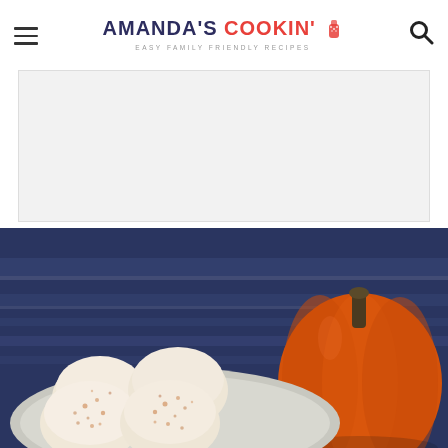AMANDA'S COOKIN' — EASY FAMILY FRIENDLY RECIPES
[Figure (other): Advertisement banner placeholder, light gray background]
[Figure (photo): Food photo showing scoops of pumpkin ice cream or whipped dessert on a plate, sprinkled with cinnamon, beside a whole orange pumpkin on a navy blue striped cloth background]